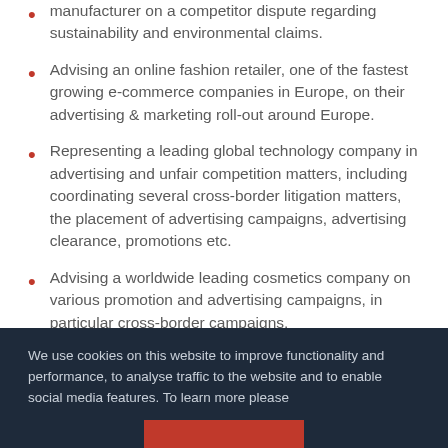manufacturer on a competitor dispute regarding sustainability and environmental claims.
Advising an online fashion retailer, one of the fastest growing e-commerce companies in Europe, on their advertising & marketing roll-out around Europe.
Representing a leading global technology company in advertising and unfair competition matters, including coordinating several cross-border litigation matters, the placement of advertising campaigns, advertising clearance, promotions etc.
Advising a worldwide leading cosmetics company on various promotion and advertising campaigns, in particular cross-border campaigns.
Multi-jurisdictional assistance to two global sportswear
We use cookies on this website to improve functionality and performance, to analyse traffic to the website and to enable social media features. To learn more please